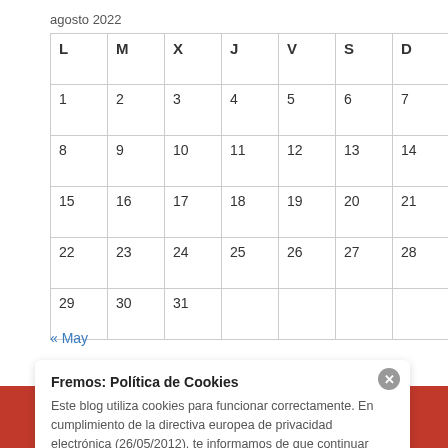agosto 2022
| L | M | X | J | V | S | D |
| --- | --- | --- | --- | --- | --- | --- |
| 1 | 2 | 3 | 4 | 5 | 6 | 7 |
| 8 | 9 | 10 | 11 | 12 | 13 | 14 |
| 15 | 16 | 17 | 18 | 19 | 20 | 21 |
| 22 | 23 | 24 | 25 | 26 | 27 | 28 |
| 29 | 30 | 31 |  |  |  |  |
« May
Fremos: Política de Cookies
Este blog utiliza cookies para funcionar correctamente. En cumplimiento de la directiva europea de privacidad electrónica (26/05/2012), te informamos de que continuar usando nuestro blog significa que aceptas las cookies.